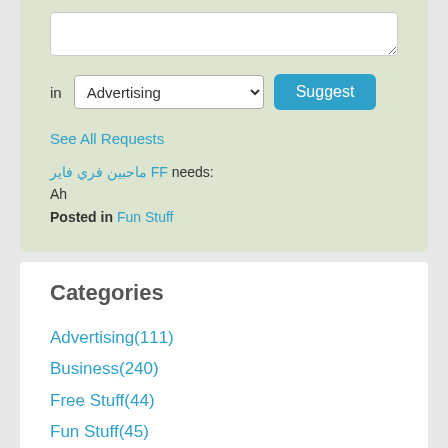[Figure (screenshot): A textarea input field for suggesting a request]
in Advertising [dropdown] Suggest
See All Requests
ماحبين فري فاير FF needs:
Ah
Posted in Fun Stuff
Categories
Advertising(111)
Business(240)
Free Stuff(44)
Fun Stuff(45)
Gift Ideas(88)
Graphics(110)